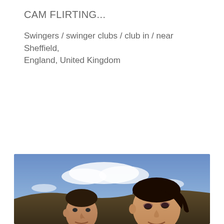CAM FLIRTING...
Swingers / swinger clubs / club in / near Sheffield, England, United Kingdom
[Figure (photo): Outdoor selfie photo of two people — a man on the left and a woman on the right — with a blue sky and clouds in the background, and hilly terrain visible behind them.]